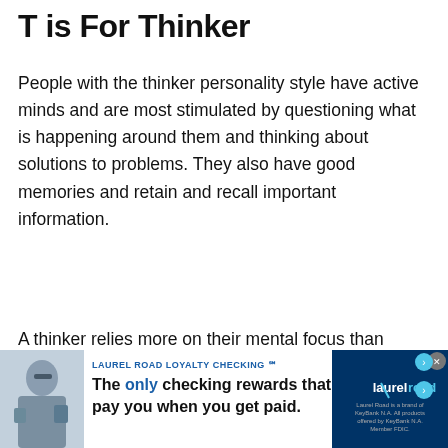T is For Thinker
People with the thinker personality style have active minds and are most stimulated by questioning what is happening around them and thinking about solutions to problems. They also have good memories and retain and recall important information.
A thinker relies more on their mental focus than emotions or feelings. Thinkers are knowledgeable
[Figure (photo): Advertisement banner: Laurel Road Loyalty Checking. Shows a woman with sunglasses and shopping bags. Text: 'The only checking rewards that pay you when you get paid.' Logo: laurel road. Disclaimer: Laurel Road is a brand of KeyBank N.A. All products offered by KeyBank N.A. Member FDIC.]